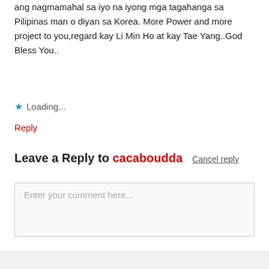ang nagmamahal sa iyo na iyong mga tagahanga sa Pilipinas man o diyan sa Korea. More Power and more project to you,regard kay Li Min Ho at kay Tae Yang..God Bless You..
★ Loading...
Reply
Leave a Reply to cacaboudda Cancel reply
Enter your comment here...